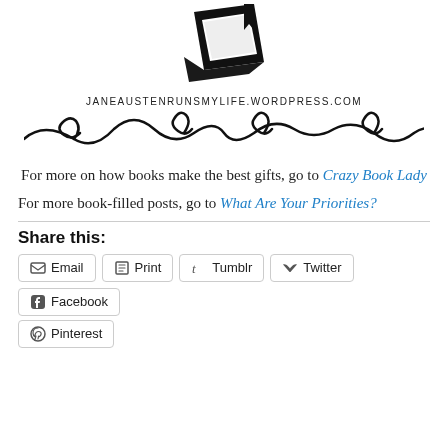[Figure (logo): Black silhouette icon of a book with a bookmark, above the site URL]
JANEAUSTENRUNSMYLIFE.WORDPRESS.COM
[Figure (illustration): Decorative black swirling flourish divider]
For more on how books make the best gifts, go to Crazy Book Lady
For more book-filled posts, go to What Are Your Priorities?
Share this:
Email  Print  Tumblr  Twitter  Facebook  Pinterest